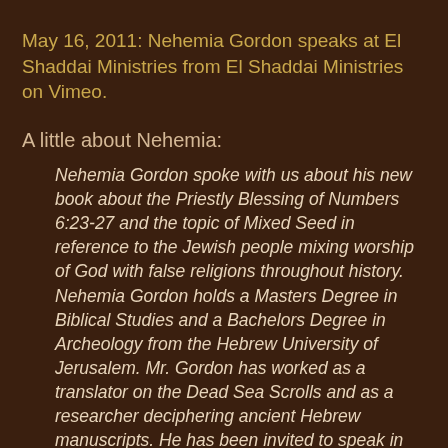May 16, 2011: Nehemia Gordon speaks at El Shaddai Ministries from El Shaddai Ministries on Vimeo.
A little about Nehemia:
Nehemia Gordon spoke with us about his new book about the Priestly Blessing of Numbers 6:23-27 and the topic of Mixed Seed in reference to the Jewish people mixing worship of God with false religions throughout history. Nehemia Gordon holds a Masters Degree in Biblical Studies and a Bachelors Degree in Archeology from the Hebrew University of Jerusalem. Mr. Gordon has worked as a translator on the Dead Sea Scrolls and as a researcher deciphering ancient Hebrew manuscripts. He has been invited to speak in synagogues and churches around the world and has led groups of pilgrims and visitors on tours of biblical sites. Nehemia